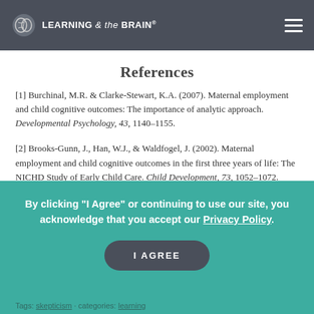LEARNING & the BRAIN®
References
[1] Burchinal, M.R. & Clarke-Stewart, K.A. (2007). Maternal employment and child cognitive outcomes: The importance of analytic approach. Developmental Psychology, 43, 1140–1155.
[2] Brooks-Gunn, J., Han, W.J., & Waldfogel, J. (2002). Maternal employment and child cognitive outcomes in the first three years of life: The NICHD Study of Early Child Care. Child Development, 73, 1052–1072.
[3] National Institute of Child Health and Human Development Early Child Care Research Network. (2003). Does amount of time spent in child care predict socioemotional adjustment during the transition to kindergarten? Child Development, 74, 976–1005.
By clicking "I Agree" or continuing to use our site, you acknowledge that you accept our Privacy Policy.
Tags: skepticism · categories: learning
Tags: skepticism · categories: learning